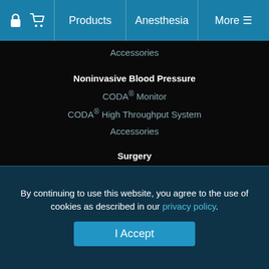Products | Anesthesia | More
Accessories
Noninvasive Blood Pressure
CODA® Monitor
CODA® High Throughput System
Accessories
Surgery
SurgiSuite
Surgical Instruments
Instrument Cleaning
Accessories
Warming
Water Recirculators
Warming Pads & Blankets
RightTemp® Jr.
Rodent Identification
By continuing to use this website, you agree to the use of cookies as described in our privacy policy.
I Accept